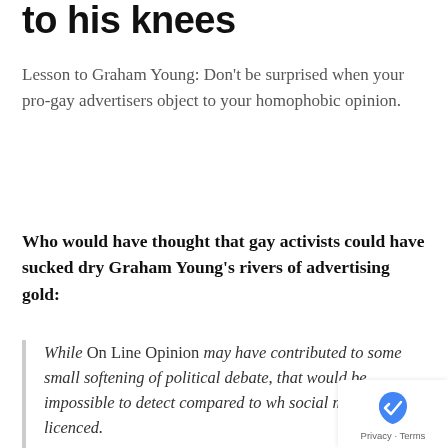to his knees
Lesson to Graham Young: Don't be surprised when your pro-gay advertisers object to your homophobic opinion.
Who would have thought that gay activists could have sucked dry Graham Young's rivers of advertising gold:
While On Line Opinion may have contributed to some small softening of political debate, that would be impossible to detect compared to wh social media has licenced.